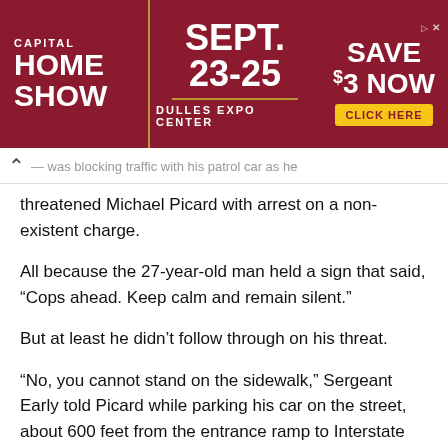[Figure (other): Advertisement banner for Capital Home Show, Sept. 23-25 at Dulles Expo Center, with Save $3 Now / Click Here call to action]
...was blocking traffic with his patrol car as he threatened Michael Picard with arrest on a non-existent charge.
All because the 27-year-old man held a sign that said, “Cops ahead. Keep calm and remain silent.”
But at least he didn’t follow through on his threat.
“No, you cannot stand on the sidewalk,” Sergeant Early told Picard while parking his car on the street, about 600 feet from the entrance ramp to Interstate 91, where Connecticut state police were conducting a DUI checkpoint.